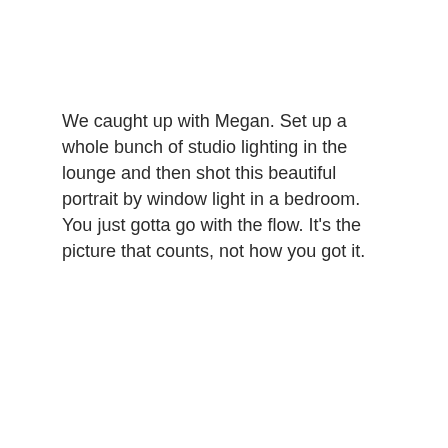We caught up with Megan. Set up a whole bunch of studio lighting in the lounge and then shot this beautiful portrait by window light in a bedroom. You just gotta go with the flow. It's the picture that counts, not how you got it.